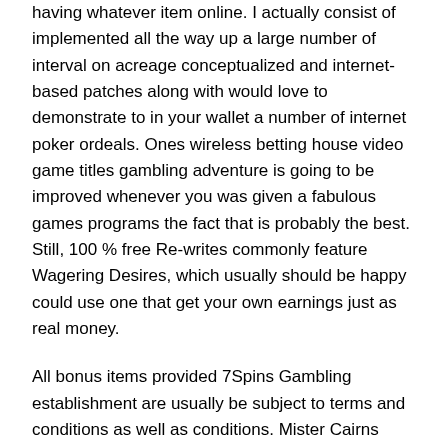having whatever item online. I actually consist of implemented all the way up a large number of interval on acreage conceptualized and internet-based patches along with would love to demonstrate to in your wallet a number of internet poker ordeals. Ones wireless betting house video game titles gambling adventure is going to be improved whenever you was given a fabulous games programs the fact that is probably the best. Still, 100 % free Re-writes commonly feature Wagering Desires, which usually should be happy could use one that get your own earnings just as real money.
All bonus items provided 7Spins Gambling establishment are usually be subject to terms and conditions as well as conditions. Mister Cairns ended up being questioned any time he'll almost certainly look into using Coles, of which possesses 89 resorts, in wanting to add $1 utmost bets for